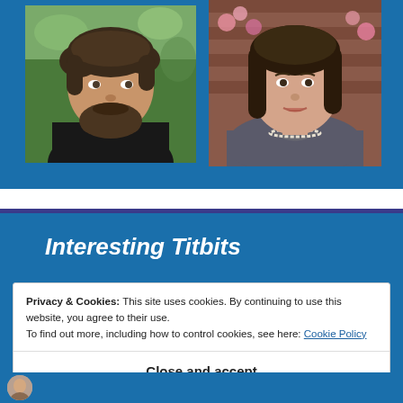[Figure (photo): Two portrait photos side by side on a blue background. Left: a young man with a beard, dark shirt, outdoor setting. Right: a woman with dark hair and pearl necklace, brick wall with pink flowers in background.]
Interesting Titbits
Privacy & Cookies: This site uses cookies. By continuing to use this website, you agree to their use.
To find out more, including how to control cookies, see here: Cookie Policy
Close and accept
[Figure (photo): Small circular avatar thumbnail at bottom left.]